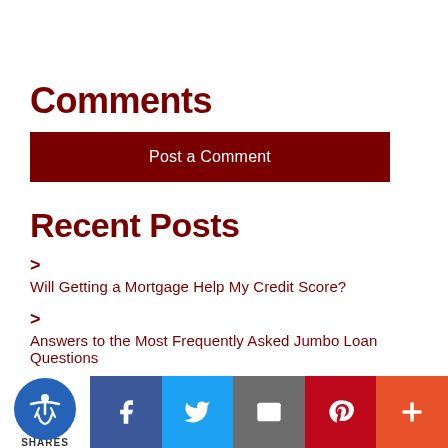Comments
Post a Comment
Recent Posts
Will Getting a Mortgage Help My Credit Score?
Answers to the Most Frequently Asked Jumbo Loan Questions
Your Mortgage Application Document Checklist
The... Mortgage FAQs of First Time...